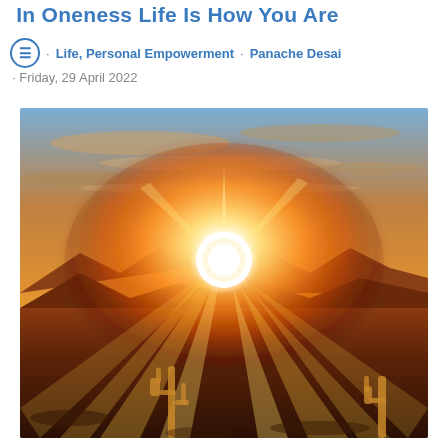In Oneness Life Is How You Are
≡ · Life, Personal Empowerment · Panache Desai · Friday, 29 April 2022
[Figure (photo): A dramatic desert sunrise or sunset with brilliant golden-orange sun rays bursting from behind mountain silhouettes. Two saguaro cacti are visible in the foreground at bottom left and right. The sky is filled with warm orange, amber, and blue tones with wispy clouds.]